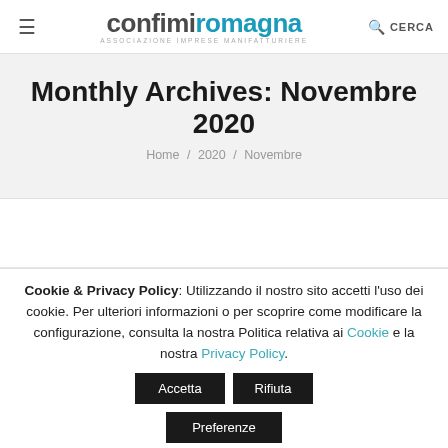confimiromagna — Associazione Imprese Manifatturiere — CERCA
Monthly Archives: Novembre 2020
Home / 2020 / Novembre
Cookie & Privacy Policy: Utilizzando il nostro sito accetti l'uso dei cookie. Per ulteriori informazioni o per scoprire come modificare la configurazione, consulta la nostra Politica relativa ai Cookie e la nostra Privacy Policy. Accetta Rifiuta Preferenze